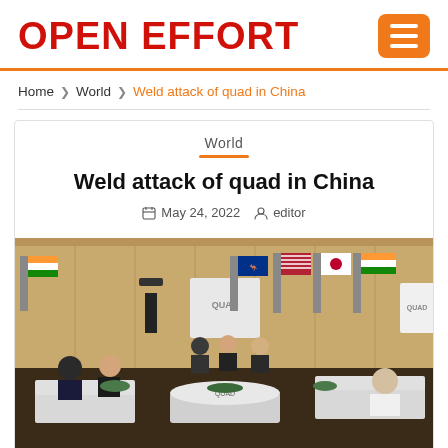OPEN EFFORT
Home › World › Weld attack of quad in China
World
Weld attack of quad in China
May 24, 2022  editor
[Figure (photo): A QUAD summit meeting room with leaders seated around draped tables. Multiple national flags visible including India, Australia, USA, and Japan. QUAD signage visible on tables and backdrop.]